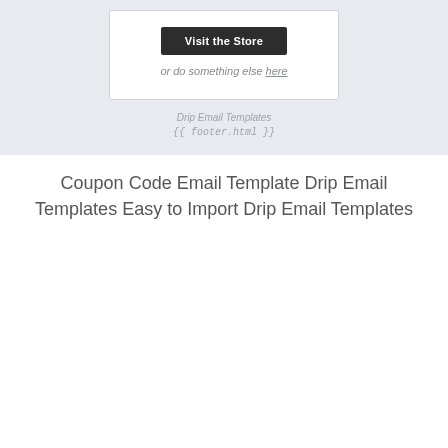[Figure (screenshot): Screenshot of an email template card on a light blue-grey background showing a 'Visit the Store' dark button, italic text 'or do something else here', a 'Drip Email Templates' label, and a '{{ footer.html }}' template tag below.]
Coupon Code Email Template Drip Email Templates Easy to Import Drip Email Templates